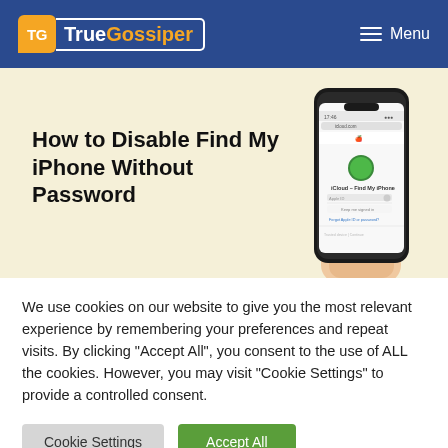TrueGossiper — Menu
[Figure (screenshot): Hero image showing a hand holding an iPhone displaying the iCloud – Find My iPhone screen, on a cream/yellow background, with bold text 'How to Disable Find My iPhone Without Password']
How to Disable Find My iPhone Without Password
We use cookies on our website to give you the most relevant experience by remembering your preferences and repeat visits. By clicking "Accept All", you consent to the use of ALL the cookies. However, you may visit "Cookie Settings" to provide a controlled consent.
Cookie Settings | Accept All